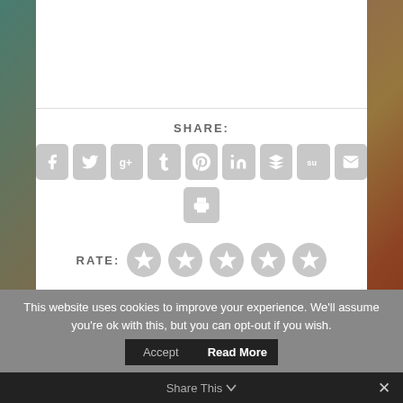[Figure (screenshot): Website UI screenshot showing a white content card over a blurred forest/sunset background image. The card contains a SHARE section with social media icon buttons (Facebook, Twitter, Google+, Tumblr, Pinterest, LinkedIn, Buffer, StumbleUpon, Email, Print) and a RATE section with 5 star rating circles. Navigation buttons 'Previous' and 'Next' in teal appear below the card. A cookie consent banner at the bottom shows accept and read more buttons, and a 'Share This' bar at the very bottom.]